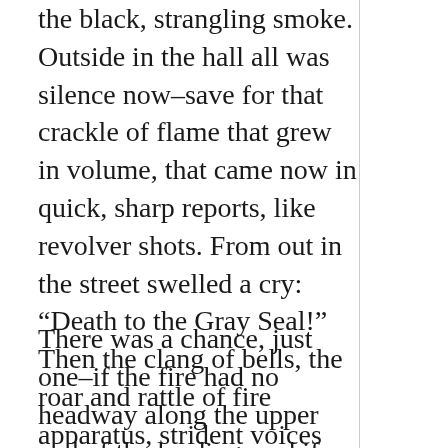the black, strangling smoke. Outside in the hall all was silence now–save for that crackle of flame that grew in volume, that came now in quick, sharp reports, like revolver shots. From out in the street swelled a cry: “Death to the Gray Seal!” Then the clang of bells, the roar and rattle of fire apparatus, strident voices bellowing orders, and the crowd again, blood hungry: “Death to the Gray Seal!”
There was a chance, just one–if the fire had no headway along the upper end of the landing–and if they had not thought to set a watch for him ABOVE! The—